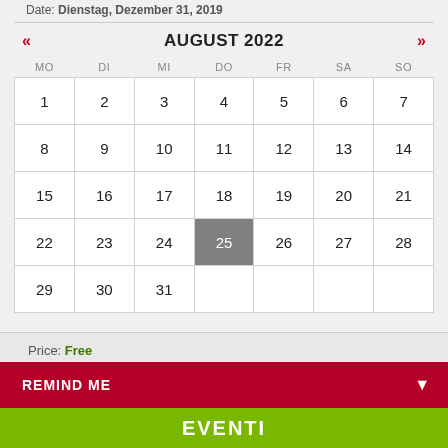Date: Dienstag, Dezember 31, 2019
| MO | DI | MI | DO | FR | SA | SO |
| --- | --- | --- | --- | --- | --- | --- |
| 1 | 2 | 3 | 4 | 5 | 6 | 7 |
| 8 | 9 | 10 | 11 | 12 | 13 | 14 |
| 15 | 16 | 17 | 18 | 19 | 20 | 21 |
| 22 | 23 | 24 | 25 | 26 | 27 | 28 |
| 29 | 30 | 31 |  |  |  |  |
Price: Free
REMIND ME
EVENTI